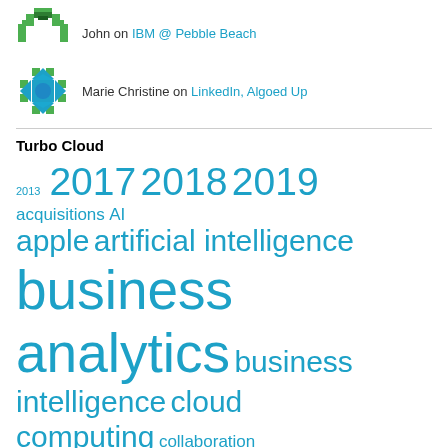[Figure (illustration): Green pixel/geometric avatar icon at the top]
John on IBM @ Pebble Beach
[Figure (illustration): Blue and green geometric/snowflake avatar icon]
Marie Christine on LinkedIn, Algoed Up
Turbo Cloud
2013 2017 2018 2019 acquisitions AI apple artificial intelligence business analytics business intelligence cloud computing collaboration software conference cybersecurity facebook golf google